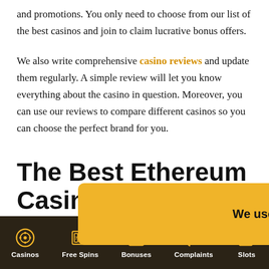and promotions. You only need to choose from our list of the best casinos and join to claim lucrative bonus offers.
We also write comprehensive casino reviews and update them regularly. A simple review will let you know everything about the casino in question. Moreover, you can use our reviews to compare different casinos so you can choose the perfect brand for you.
The Best Ethereum Casinos
[Figure (infographic): Cookie consent banner overlay with yellow/amber background showing 'We use cookies.' text and a black rounded OK button]
Al...
Casinos | Free Spins | Bonuses | Complaints | Slots